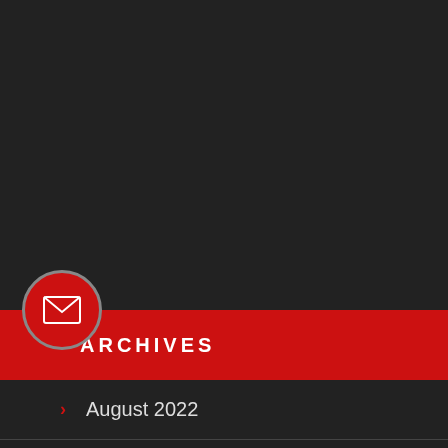[Figure (illustration): Dark background top section of a webpage sidebar, with a red circular email/envelope icon button]
ARCHIVES
August 2022
July 2022
June 2022